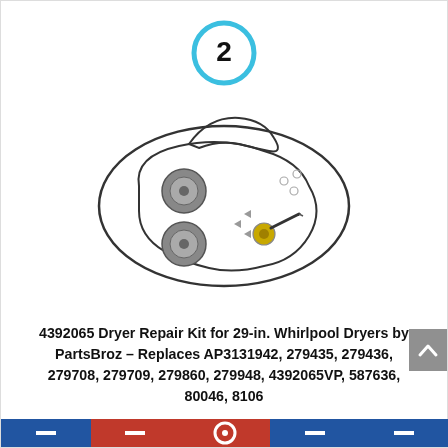[Figure (illustration): Blue circle with number 2 inside, serving as a step or item indicator]
[Figure (photo): Product image of 4392065 Dryer Repair Kit showing a drive belt looped around two rollers and a tension pulley, with additional small components]
4392065 Dryer Repair Kit for 29-in. Whirlpool Dryers by PartsBroz – Replaces AP3131942, 279435, 279436, 279708, 279709, 279860, 279948, 4392065VP, 587636, 80046, 8106...